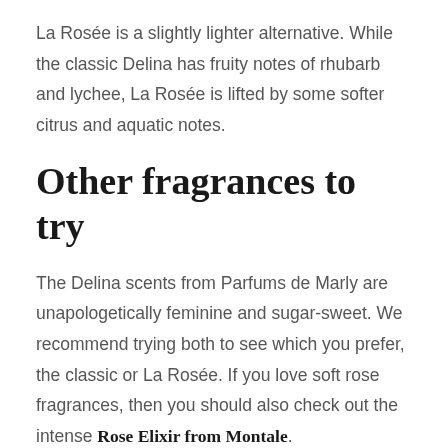La Rosée is a slightly lighter alternative. While the classic Delina has fruity notes of rhubarb and lychee, La Rosée is lifted by some softer citrus and aquatic notes.
Other fragrances to try
The Delina scents from Parfums de Marly are unapologetically feminine and sugar-sweet. We recommend trying both to see which you prefer, the classic or La Rosée. If you love soft rose fragrances, then you should also check out the intense Rose Elixir from Montale.
But for those who prefer something with a little more